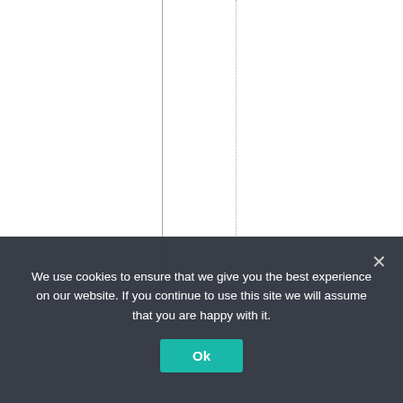ngofBarryPublicisf
We use cookies to ensure that we give you the best experience on our website. If you continue to use this site we will assume that you are happy with it.